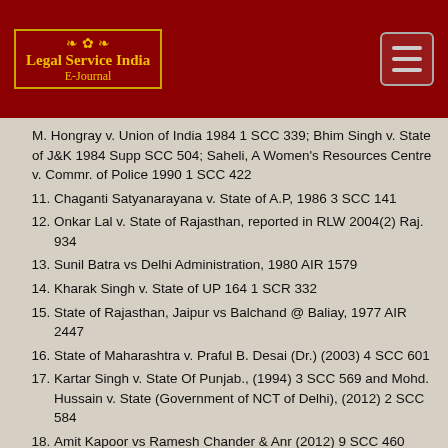Legal Service India E-Journal
M. Hongray v. Union of India 1984 1 SCC 339; Bhim Singh v. State of J&K 1984 Supp SCC 504; Saheli, A Women's Resources Centre v. Commr. of Police 1990 1 SCC 422
11. Chaganti Satyanarayana v. State of A.P, 1986 3 SCC 141
12. Onkar Lal v. State of Rajasthan, reported in RLW 2004(2) Raj. 934
13. Sunil Batra vs Delhi Administration, 1980 AIR 1579
14. Kharak Singh v. State of UP 164 1 SCR 332
15. State of Rajasthan, Jaipur vs Balchand @ Baliay, 1977 AIR 2447
16. State of Maharashtra v. Praful B. Desai (Dr.) (2003) 4 SCC 601
17. Kartar Singh v. State Of Punjab., (1994) 3 SCC 569 and Mohd. Hussain v. State (Government of NCT of Delhi), (2012) 2 SCC 584
18. Amit Kapoor vs Ramesh Chander & Anr (2012) 9 SCC 460